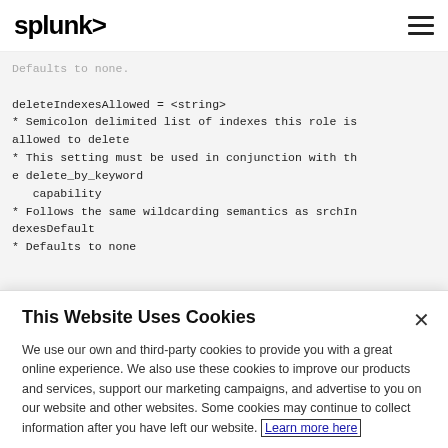splunk>
deleteIndexesAllowed = <string>
* Semicolon delimited list of indexes this role is allowed to delete
* This setting must be used in conjunction with the delete_by_keyword
   capability
* Follows the same wildcarding semantics as srchIndexesDefault
* Defaults to none
This Website Uses Cookies
We use our own and third-party cookies to provide you with a great online experience. We also use these cookies to improve our products and services, support our marketing campaigns, and advertise to you on our website and other websites. Some cookies may continue to collect information after you have left our website. Learn more here
Accept Cookies    Cookies Settings ›